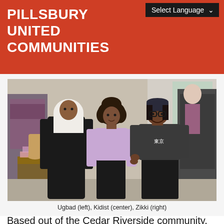PILLSBURY UNITED COMMUNITIES
Select Language
[Figure (photo): Three women standing in a clothing store/boutique. Left: woman wearing black abaya and white hijab (Ugbad). Center: woman with curly hair in a lavender/lilac top (Kidist). Right: woman with glasses and a dark bandana headband wearing a dark t-shirt with Japanese characters (Zikki). Racks of clothing visible in background.]
Ugbad (left), Kidist (center), Zikki (right)
Based out of the Cedar Riverside community, our team